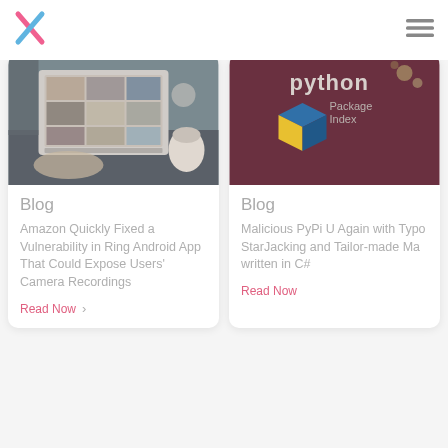[Figure (logo): X logo in pink and blue cross shape]
[Figure (illustration): Hamburger menu icon (three horizontal lines)]
[Figure (photo): Laptop showing photo collage on screen, person typing, coffee cup in background]
Blog
Amazon Quickly Fixed a Vulnerability in Ring Android App That Could Expose Users' Camera Recordings
Read Now
[Figure (illustration): Python Package Index logo on dark maroon background]
Blog
Malicious PyPi U Again with Typo StarJacking and Tailor-made Ma written in C#
Read Now